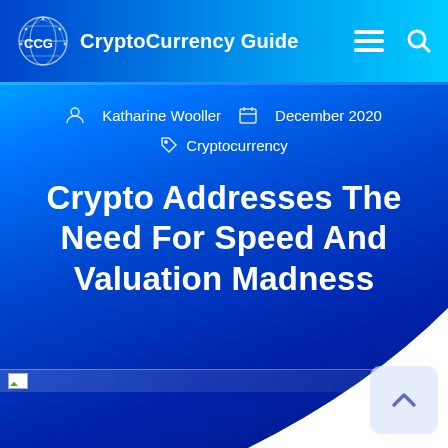CCG CryptoCurrency Guide
Katharine Wooller  December 2020  Cryptocurrency
Crypto Addresses The Need For Speed And Valuation Madness